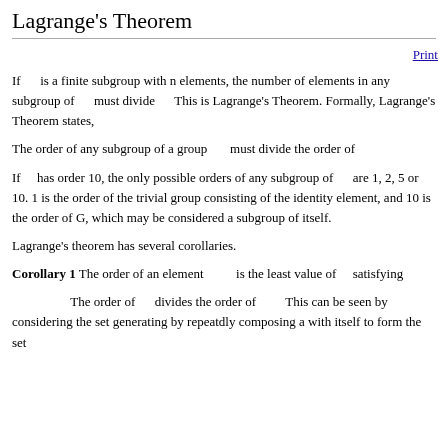Lagrange's Theorem
If G is a finite subgroup with n elements, the number of elements in any subgroup of G must divide n. This is Lagrange's Theorem. Formally, Lagrange's Theorem states,
The order of any subgroup of a group G must divide the order of G.
If G has order 10, the only possible orders of any subgroup of G are 1, 2, 5 or 10. 1 is the order of the trivial group consisting of the identity element, and 10 is the order of G, which may be considered a subgroup of itself.
Lagrange's theorem has several corollaries.
Corollary 1 The order of an element a is the least value of n satisfying a^n = e. The order of a divides the order of G. This can be seen by considering the set generating by repeatdly composing a with itself to form the set